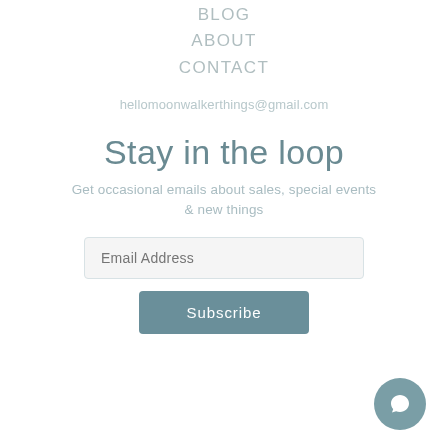BLOG
ABOUT
CONTACT
hellomoonwalkerthings@gmail.com
Stay in the loop
Get occasional emails about sales, special events & new things
Email Address
Subscribe
[Figure (illustration): Chat/message bubble icon button in a circular gray-blue badge, bottom-right corner]